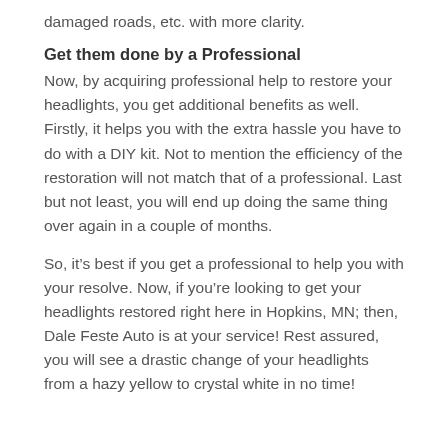damaged roads, etc. with more clarity.
Get them done by a Professional
Now, by acquiring professional help to restore your headlights, you get additional benefits as well. Firstly, it helps you with the extra hassle you have to do with a DIY kit. Not to mention the efficiency of the restoration will not match that of a professional. Last but not least, you will end up doing the same thing over again in a couple of months.
So, it’s best if you get a professional to help you with your resolve. Now, if you’re looking to get your headlights restored right here in Hopkins, MN; then, Dale Feste Auto is at your service! Rest assured, you will see a drastic change of your headlights from a hazy yellow to crystal white in no time!